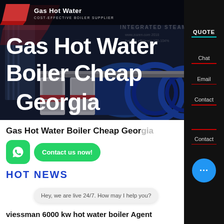[Figure (photo): Hero image of industrial gas hot water boiler equipment with blue industrial machinery in background. Dark overlay with website header showing logo and navigation.]
Gas Hot Water Boiler Cheap Georgia
HOT NEWS
Hey, we are live 24/7. How may I help you?
viessman 6000 kw hot water boiler Agent